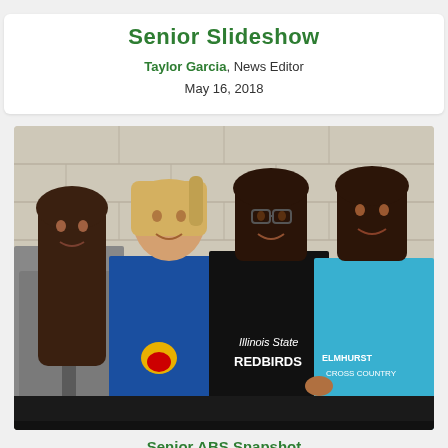Senior Slideshow
Taylor Garcia, News Editor
May 16, 2018
[Figure (photo): Four female high school seniors posing together in front of a cinder block wall. From left to right: a girl in a gray zip-up jacket with long brown hair, a girl in a blue Kansas Jayhawks shirt with light hair pulled back, a girl with glasses in a black Illinois State Redbirds hoodie with brown hair, and a girl in a light blue Elmhurst Cross Country shirt with brown hair and a hand on her hip.]
Senior ABS Snapshot